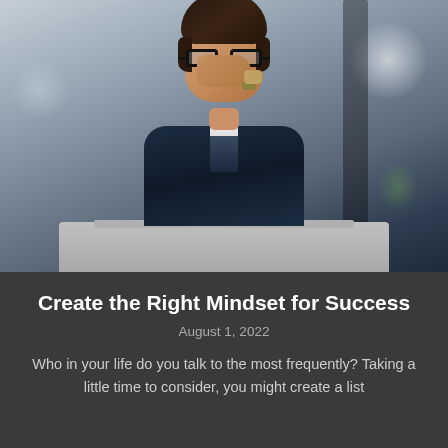[Figure (photo): A man in a dark navy suit with glasses and a tie, sitting at a desk with a laptop, hand raised to his chin/mouth in a thoughtful pose. The background is blurred (office setting). The image has a cool, slightly desaturated tone.]
Create the Right Mindset for Success
August 1, 2022
Who in your life do you talk to the most frequently? Taking a little time to consider, you might create a list